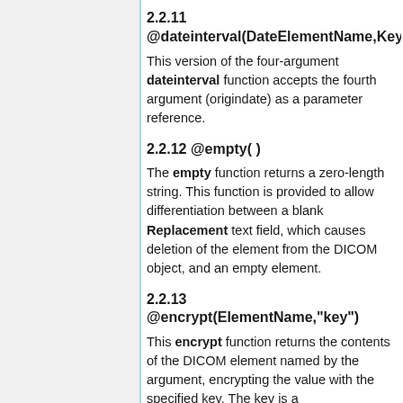2.2.11 @dateinterval(DateElementName,KeyT…
This version of the four-argument dateinterval function accepts the fourth argument (origindate) as a parameter reference.
2.2.12 @empty( )
The empty function returns a zero-length string. This function is provided to allow differentiation between a blank Replacement text field, which causes deletion of the element from the DICOM object, and an empty element.
2.2.13 @encrypt(ElementName,"key")
This encrypt function returns the contents of the DICOM element named by the argument, encrypting the value with the specified key. The key is a